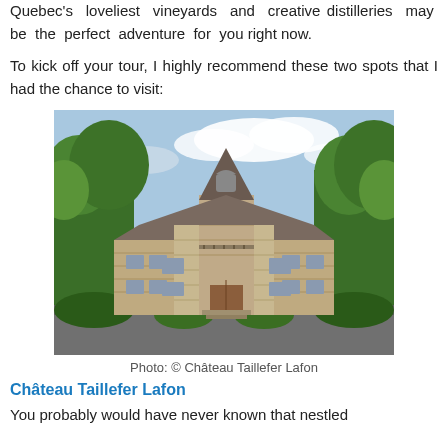Quebec's loveliest vineyards and creative distilleries may be the perfect adventure for you right now.
To kick off your tour, I highly recommend these two spots that I had the chance to visit:
[Figure (photo): Photo of Château Taillefer Lafon, a stone château surrounded by green trees with a pointed roof tower in the center.]
Photo: © Château Taillefer Lafon
Château Taillefer Lafon
You probably would have never known that nestled